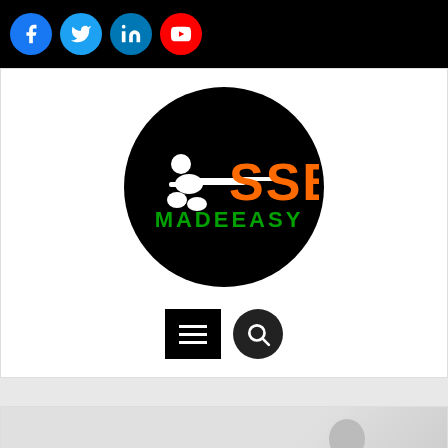[Figure (other): Top black bar with social media icons: Facebook (blue circle), Twitter (blue circle), LinkedIn (blue circle), YouTube (red circle)]
[Figure (logo): SSB Madeeasy logo: black circle with white soldier silhouette aiming rifle and orange 'SSB' text with green 'MADEEASY' below]
[Figure (other): Navigation bar with black square menu/hamburger button and black circular search icon]
[Figure (other): Bottom section showing gray/white background with a person's head and company name label with icon reading 'COMPANY NAME']